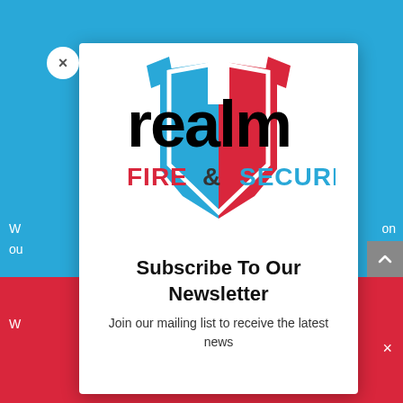[Figure (logo): Realm Fire & Security logo — shield shape split red/blue with 'realm' in bold black lowercase and 'FIRE & SECURITY' text below in red and blue]
Subscribe To Our Newsletter
Join our mailing list to receive the latest news